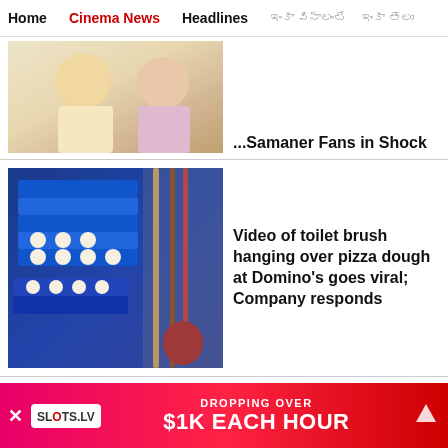Home | Cinema News | Headlines | (script text) | (script text)
[Figure (photo): Partial view of two people sitting, woman in light top and woman in pink sari]
...Samaner Fans in Shock
[Figure (photo): Blue plastic trays with pizza dough balls stacked, brooms hanging on wall in background]
Video of toilet brush hanging over pizza dough at Domino's goes viral; Company responds
[Figure (photo): Indian food dish on white plate with green topping]
International firm's CEO reveals that he is in love with Indian food!
[Figure (screenshot): SLOTS.LV advertisement banner: DROPPING OVER $1K EACH HOUR]